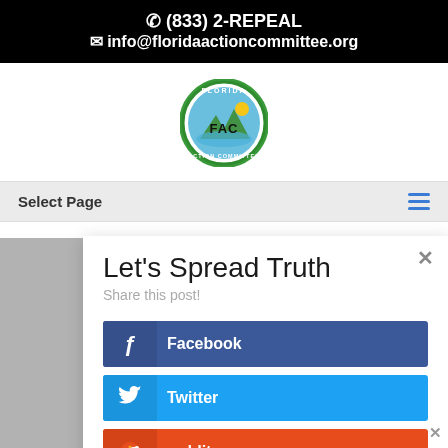☎ (833) 2-REPEAL ✉ info@floridaactioncommittee.org
[Figure (logo): Florida Action Committee (FAC) circular logo with green border, showing mountains and water with FAC initials in center]
Select Page
Let's Spread Truth
Share this post!
f  Facebook
Twitter
reddit